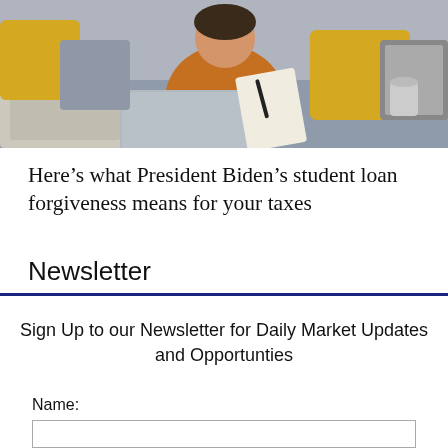[Figure (photo): Person sitting on a sofa with a laptop and notepad, wearing an orange sweater, with yellow cushions in background]
Here’s what President Biden’s student loan forgiveness means for your taxes
Newsletter
Sign Up to our Newsletter for Daily Market Updates and Opportunties
Name: